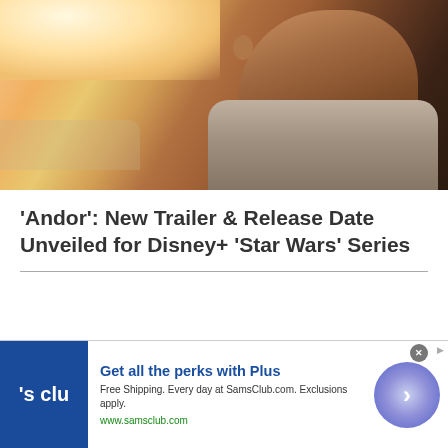[Figure (photo): A young man looking out a car window, warm golden/orange tones in the background, appears to be from the TV show Andor]
'Andor': New Trailer & Release Date Unveiled for Disney+ 'Star Wars' Series
Home | Privacy Policy | Facebook | YouTube
Copyright © 2022 Screen Realm | Powered by
[Figure (screenshot): Sam's Club advertisement banner: 'Get all the perks with Plus. Free Shipping. Every day at SamsClub.com. Exclusions apply. www.samsclub.com' with blue logo and circular CTA button]